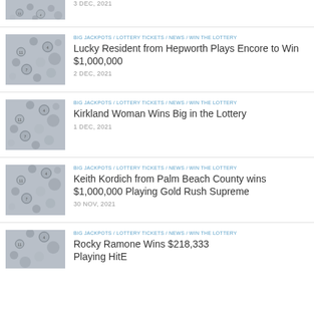[Figure (photo): Partial lottery balls image (top cropped)]
3 DEC, 2021
[Figure (photo): Lottery balls scattered on gray surface]
BIG JACKPOTS / LOTTERY TICKETS / NEWS / WIN THE LOTTERY
Lucky Resident from Hepworth Plays Encore to Win $1,000,000
2 DEC, 2021
[Figure (photo): Lottery balls scattered on gray surface]
BIG JACKPOTS / LOTTERY TICKETS / NEWS / WIN THE LOTTERY
Kirkland Woman Wins Big in the Lottery
1 DEC, 2021
[Figure (photo): Lottery balls scattered on gray surface]
BIG JACKPOTS / LOTTERY TICKETS / NEWS / WIN THE LOTTERY
Keith Kordich from Palm Beach County wins $1,000,000 Playing Gold Rush Supreme
30 NOV, 2021
[Figure (photo): Lottery balls scattered on gray surface (partial bottom)]
BIG JACKPOTS / LOTTERY TICKETS / NEWS / WIN THE LOTTERY
Rocky Ramone Wins $218,333 Playing HitE